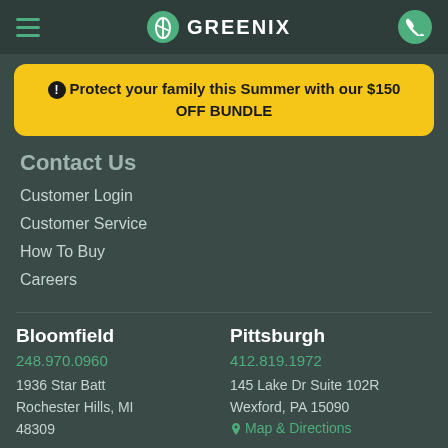GREENIX
Protect your family this Summer with our $150 OFF BUNDLE
Contact Us
Customer Login
Customer Service
How To Buy
Careers
Bloomfield
248.970.0960
1936 Star Batt
Rochester Hills, MI
48309
Pittsburgh
412.819.1972
145 Lake Dr Suite 102R
Wexford, PA 15090
Map & Directions